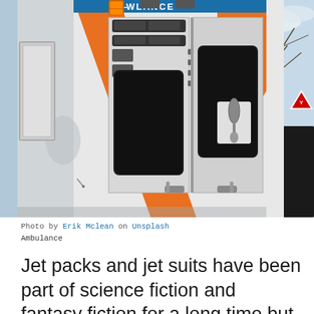[Figure (photo): Close-up photo of the back of an ambulance vehicle showing blue and orange markings, the Star of Life symbol, rear compartment doors with handles, and a partial view of a tree and sky in the background. The word 'AMBULANCE' is partially visible at the top.]
Photo by Erik Mclean on Unsplash
Ambulance
Jet packs and jet suits have been part of science fiction and fantasy fiction for a long time but who would've thought we could really be living like "The Jetsons" sooner rather than later? Paramedics in